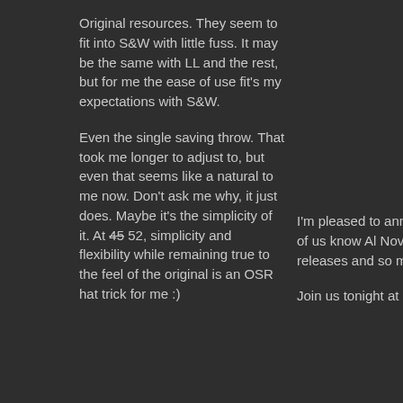Original resources. They seem to fit into S&W with little fuss. It may be the same with LL and the rest, but for me the ease of use fit's my expectations with S&W.
Even the single saving throw. That took me longer to adjust to, but even that seems like a natural to me now. Don't ask me why, it just does. Maybe it's the simplicity of it. At 45 52, simplicity and flexibility while remaining true to the feel of the original is an OSR hat trick for me :)
I'm pleased to announce that Kammer. Most of us know Al November (pandemic willing) releases and so much more.
Join us tonight at 8 PM Easte